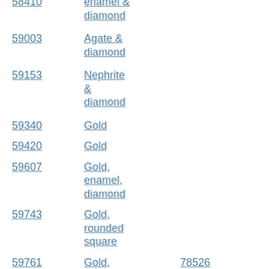58410	enamel & diamond
59003	Agate & diamond
59153	Nephrite & diamond
59340	Gold
59420	Gold
59607	Gold, enamel, diamond
59743	Gold, rounded square
59761	Gold, horseshoe	78526
59774	Gold, egg shaped